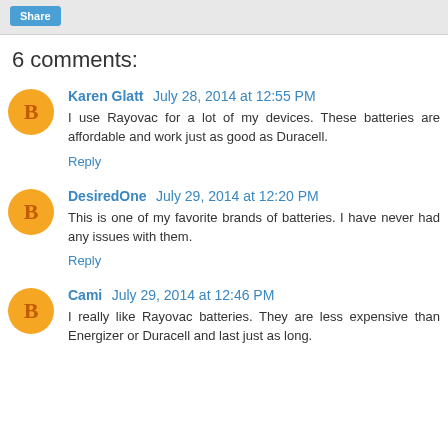Share
6 comments:
Karen Glatt July 28, 2014 at 12:55 PM
I use Rayovac for a lot of my devices. These batteries are affordable and work just as good as Duracell.
Reply
DesiredOne July 29, 2014 at 12:20 PM
This is one of my favorite brands of batteries. I have never had any issues with them.
Reply
Cami July 29, 2014 at 12:46 PM
I really like Rayovac batteries. They are less expensive than Energizer or Duracell and last just as long.